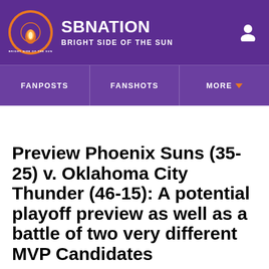SBNATION BRIGHT SIDE OF THE SUN
FANPOSTS FANSHOTS MORE
Preview Phoenix Suns (35-25) v. Oklahoma City Thunder (46-15): A potential playoff preview as well as a battle of two very different MVP Candidates
Technically, this is a playoff preview of what the first round 1 Seed and 8 Seed might look